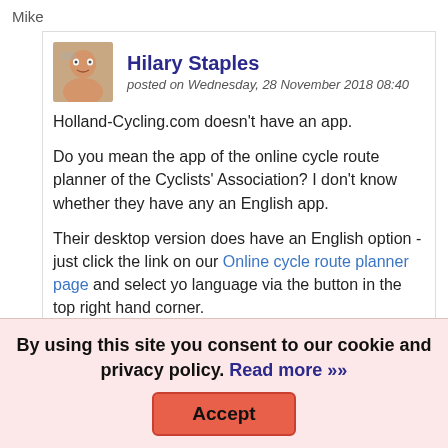Mike
Hilary Staples
posted on Wednesday, 28 November 2018 08:40
Holland-Cycling.com doesn't have an app.
Do you mean the app of the online cycle route planner of the Cyclists' Association? I don't know whether they have an English app.
Their desktop version does have an English option - just click the link on our Online cycle route planner page and select your language via the button in the top right hand corner.
olivier chateau
By using this site you consent to our cookie and privacy policy. Read more »»
Accept